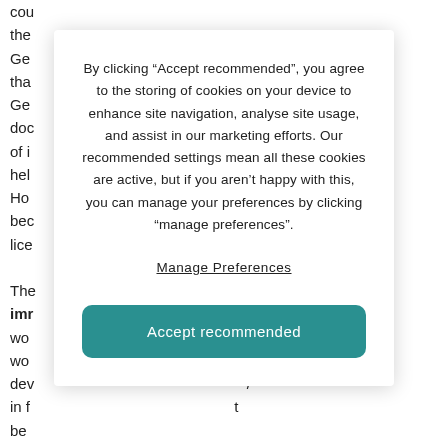cou the Ger ed tha Ger of doc ow of i hel Ho bec ng lice
The n imr wo wo dev / in f t be
Based on projections from Germany's Statistical Office, it's thought that Germany's population
By clicking “Accept recommended”, you agree to the storing of cookies on your device to enhance site navigation, analyse site usage, and assist in our marketing efforts. Our recommended settings mean all these cookies are active, but if you aren’t happy with this, you can manage your preferences by clicking “manage preferences”.
Manage Preferences
Accept recommended